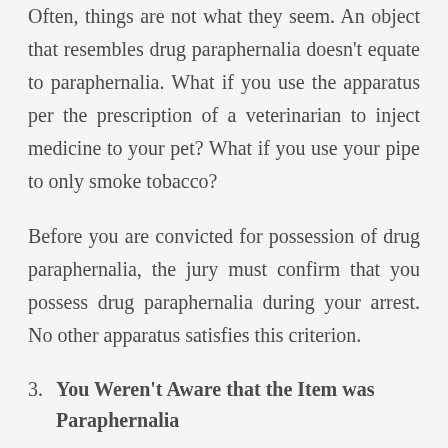Often, things are not what they seem. An object that resembles drug paraphernalia doesn't equate to paraphernalia. What if you use the apparatus per the prescription of a veterinarian to inject medicine to your pet? What if you use your pipe to only smoke tobacco?
Before you are convicted for possession of drug paraphernalia, the jury must confirm that you possess drug paraphernalia during your arrest. No other apparatus satisfies this criterion.
3. You Weren't Aware that the Item was Paraphernalia
Under California's drug paraphernalia possession law, you are innocent if the prosecutor cannot